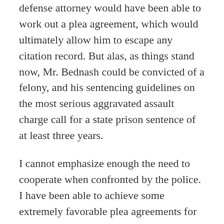defense attorney would have been able to work out a plea agreement, which would ultimately allow him to escape any citation record. But alas, as things stand now, Mr. Bednash could be convicted of a felony, and his sentencing guidelines on the most serious aggravated assault charge call for a state prison sentence of at least three years.
I cannot emphasize enough the need to cooperate when confronted by the police. I have been able to achieve some extremely favorable plea agreements for clients over the years, in cases where clients were cooperative with police. The police and prosecutors are human. They often feel sympathy for a defendant who is normally a good person, but simply made a mistake due to a combination of intoxication and immaturity. On the flip side, that same basic human nature makes the police and prosecutors very reluctant to show any mercy to someone who physically harms members of law enforcement.